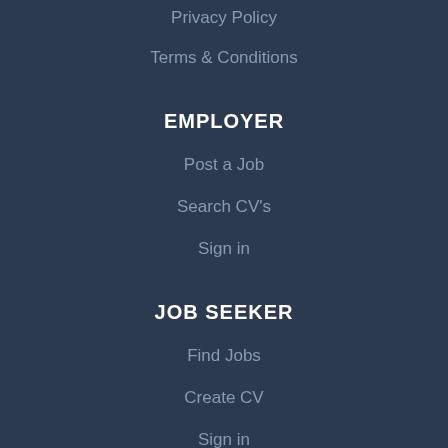Privacy Policy
Terms & Conditions
EMPLOYER
Post a Job
Search CV's
Sign in
JOB SEEKER
Find Jobs
Create CV
Sign in
Facebook
Twitter